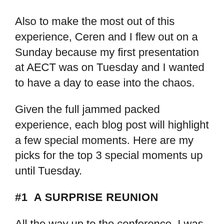Also to make the most out of this experience, Ceren and I flew out on a Sunday because my first presentation at AECT was on Tuesday and I wanted to have a day to ease into the chaos.
Given the full jammed packed experience, each blog post will highlight a few special moments. Here are my picks for the top 3 special moments up until Tuesday.
#1  A SURPRISE REUNION
All the way up to the conference, I was in contact with Ceren's boyfriend Utkan in Turkey who was planning a surprise visit to Las Vegas for the